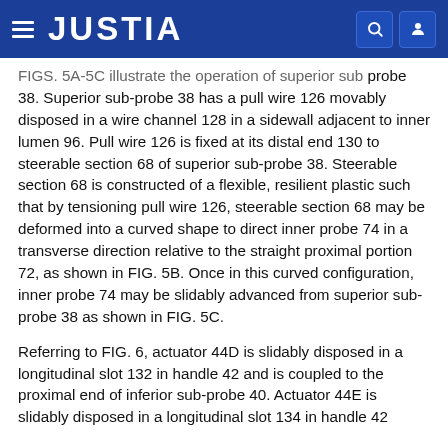JUSTIA
FIGS. 5A-5C illustrate the operation of superior sub probe 38. Superior sub-probe 38 has a pull wire 126 movably disposed in a wire channel 128 in a sidewall adjacent to inner lumen 96. Pull wire 126 is fixed at its distal end 130 to steerable section 68 of superior sub-probe 38. Steerable section 68 is constructed of a flexible, resilient plastic such that by tensioning pull wire 126, steerable section 68 may be deformed into a curved shape to direct inner probe 74 in a transverse direction relative to the straight proximal portion 72, as shown in FIG. 5B. Once in this curved configuration, inner probe 74 may be slidably advanced from superior sub-probe 38 as shown in FIG. 5C.
Referring to FIG. 6, actuator 44D is slidably disposed in a longitudinal slot 132 in handle 42 and is coupled to the proximal end of inferior sub-probe 40. Actuator 44E is slidably disposed in a longitudinal slot 134 in handle 42